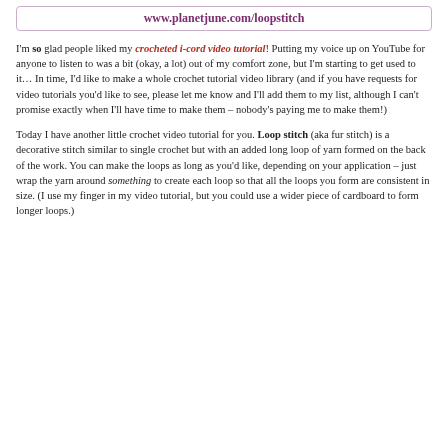www.planetjune.com/loopstitch
I'm so glad people liked my crocheted i-cord video tutorial! Putting my voice up on YouTube for anyone to listen to was a bit (okay, a lot) out of my comfort zone, but I'm starting to get used to it… In time, I'd like to make a whole crochet tutorial video library (and if you have requests for video tutorials you'd like to see, please let me know and I'll add them to my list, although I can't promise exactly when I'll have time to make them – nobody's paying me to make them!)
Today I have another little crochet video tutorial for you. Loop stitch (aka fur stitch) is a decorative stitch similar to single crochet but with an added long loop of yarn formed on the back of the work. You can make the loops as long as you'd like, depending on your application – just wrap the yarn around something to create each loop so that all the loops you form are consistent in size. (I use my finger in my video tutorial, but you could use a wider piece of cardboard to form longer loops.)